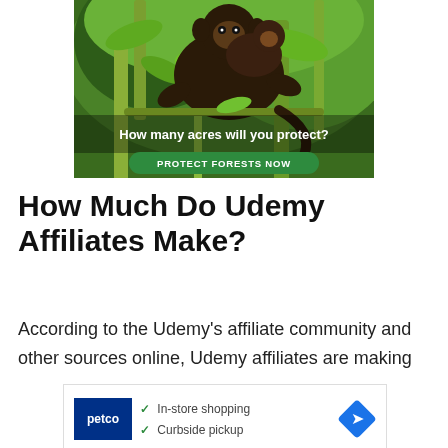[Figure (photo): Wildlife photo advertisement showing a monkey/lemur on branches with green foliage background. Text overlay reads 'How many acres will you protect?' with a green 'PROTECT FORESTS NOW' button.]
How Much Do Udemy Affiliates Make?
According to the Udemy's affiliate community and other sources online, Udemy affiliates are making
[Figure (screenshot): Petco advertisement banner showing Petco logo, checkmarks for 'In-store shopping' and 'Curbside pickup', and a blue directions/navigation icon.]